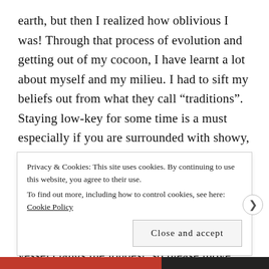earth, but then I realized how oblivious I was! Through that process of evolution and getting out of my cocoon, I have learnt a lot about myself and my milieu. I had to sift my beliefs out from what they call “traditions”. Staying low-key for some time is a must especially if you are surrounded with showy, bigoted, and ultra people. I did my best to ameliorate many things around and there was no panacea for my life. Thanks for having a place to vent on as a nonentity’s story may inspire. At the end, an empty vessel clangs the loudest, so please move forwards with enthusiasm and determination and rewards will definitely come in your path!
Privacy & Cookies: This site uses cookies. By continuing to use this website, you agree to their use.
To find out more, including how to control cookies, see here: Cookie Policy
Close and accept